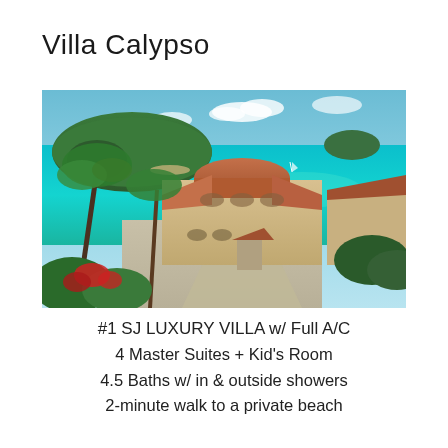Villa Calypso
[Figure (photo): Aerial view of a luxury Mediterranean-style villa with terracotta tile roofs, surrounded by tropical vegetation and overlooking a stunning turquoise bay with an island in the background.]
#1 SJ LUXURY VILLA w/ Full A/C
4 Master Suites + Kid's Room
4.5 Baths w/ in & outside showers
2-minute walk to a private beach